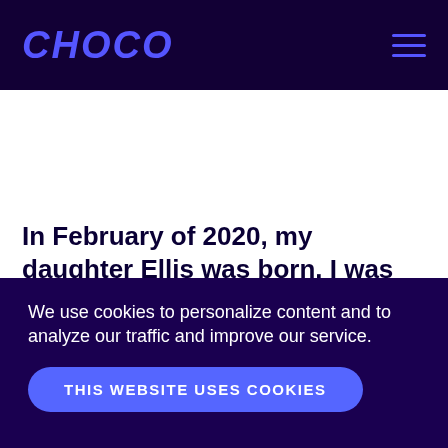CHOCO
In February of 2020, my daughter Ellis was born. I was based in Los Angeles at the time (not yet with Choco) and took my six weeks paternity
We use cookies to personalize content and to analyze our traffic and improve our service.
THIS WEBSITE USES COOKIES